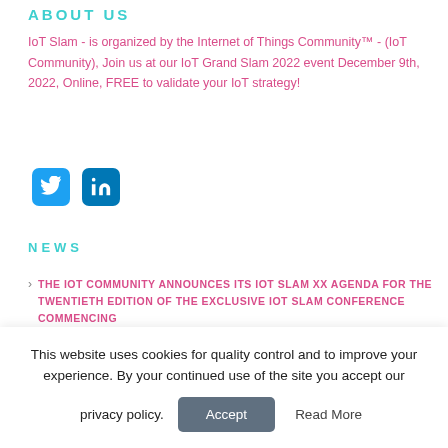ABOUT US
IoT Slam - is organized by the Internet of Things Community™ - (IoT Community), Join us at our IoT Grand Slam 2022 event December 9th, 2022, Online, FREE to validate your IoT strategy!
[Figure (logo): Twitter and LinkedIn social media icon buttons]
NEWS
THE IOT COMMUNITY ANNOUNCES ITS IOT SLAM XX AGENDA FOR THE TWENTIETH EDITION OF THE EXCLUSIVE IOT SLAM CONFERENCE COMMENCING
This website uses cookies for quality control and to improve your experience. By your continued use of the site you accept our privacy policy.
Accept   Read More